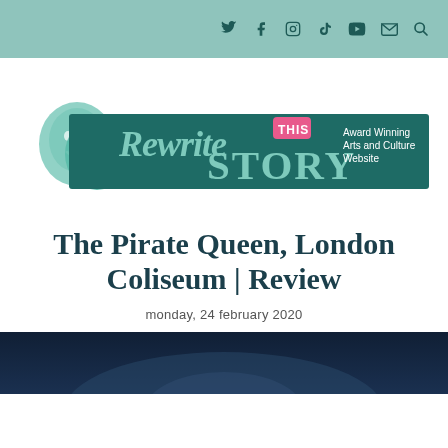Navigation bar with social icons: Twitter, Facebook, Instagram, TikTok, YouTube, Email, Search
[Figure (logo): Rewrite This Story logo — theatre masks on the left, teal banner with cursive 'Rewrite This Story' text and tagline 'Award Winning Arts and Culture Website']
The Pirate Queen, London Coliseum | Review
monday, 24 february 2020
[Figure (photo): Bottom portion of a production photo, dark blue stage lighting visible]